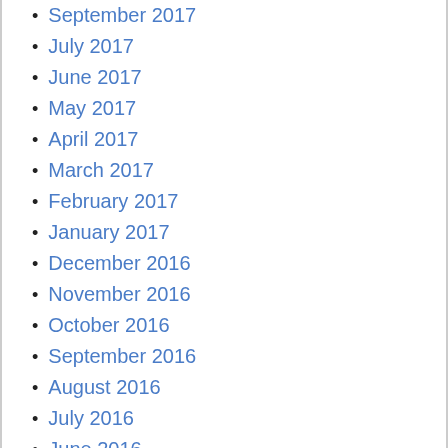September 2017
July 2017
June 2017
May 2017
April 2017
March 2017
February 2017
January 2017
December 2016
November 2016
October 2016
September 2016
August 2016
July 2016
June 2016
May 2016
April 2016
March 2016
February 2016